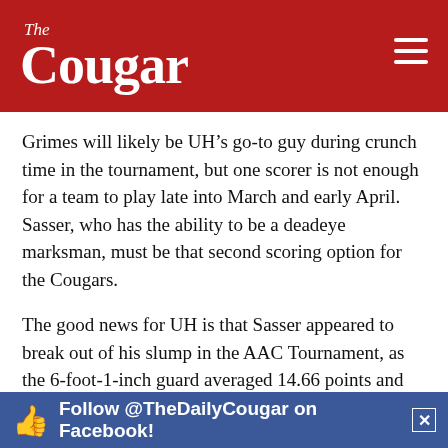The Cougar
Grimes will likely be UH’s go-to guy during crunch time in the tournament, but one scorer is not enough for a team to play late into March and early April. Sasser, who has the ability to be a deadeye marksman, must be that second scoring option for the Cougars.
The good news for UH is that Sasser appeared to break out of his slump in the AAC Tournament, as the 6-foot-1-inch guard averaged 14.66 points and shot 34.78 percent from deep.
The Cougars are hoping that this is a sign that Sasser has returned to his normal… will help propel UH through the Midwest
[Figure (other): Advertisement banner: Follow @TheDailyCougar on Facebook!]